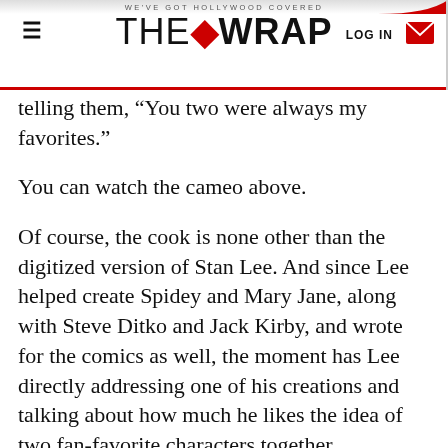WE'VE GOT HOLLYWOOD COVERED | THE WRAP | LOG IN
telling them, "You two were always my favorites."
You can watch the cameo above.
Of course, the cook is none other than the digitized version of Stan Lee. And since Lee helped create Spidey and Mary Jane, along with Steve Ditko and Jack Kirby, and wrote for the comics as well, the moment has Lee directly addressing one of his creations and talking about how much he likes the idea of two fan-favorite characters together.
While there are a lot of fun and funny Stan Lee cameos out there in the Marvel movies, the one in "Marvel's Spider-Man" ranks among the best. It might